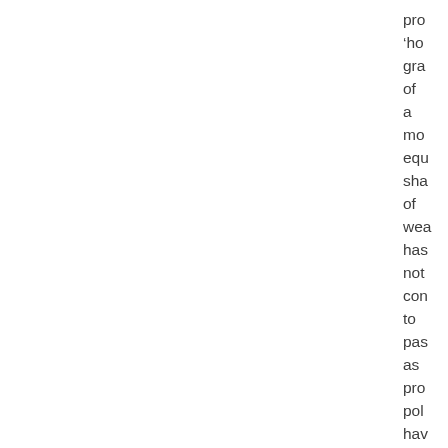pro
‘ho
gra
of
a
mo
equ
sha
of
wea
has
not
con
to
pas
as
pro
pol
hav
had
no
ma
imp